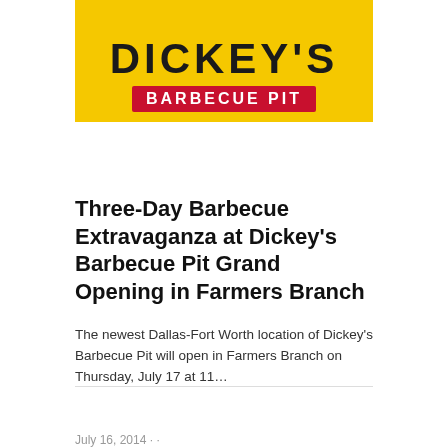[Figure (logo): Dickey's Barbecue Pit logo: yellow background with bold black letters spelling 'DICKEY'S' above a red bar reading 'BARBECUE PIT' in white text]
Three-Day Barbecue Extravaganza at Dickey's Barbecue Pit Grand Opening in Farmers Branch
The newest Dallas-Fort Worth location of Dickey's Barbecue Pit will open in Farmers Branch on Thursday, July 17 at 11...
July 16, 2014 · ·